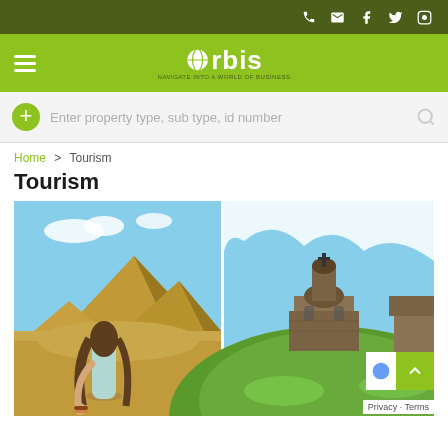Top navigation bar with phone, email, Facebook, Twitter, Instagram icons
[Figure (screenshot): Orbis logo with globe icon and green navigation bar with hamburger menu]
Enter property type, sub type, id number
Home > Tourism
Tourism
[Figure (photo): Left: Woman with long hair holding hands facing Egyptian Pyramids in desert. Right: Ancient stone church/monastery on green hill with snowy mountain background.]
Privacy · Terms